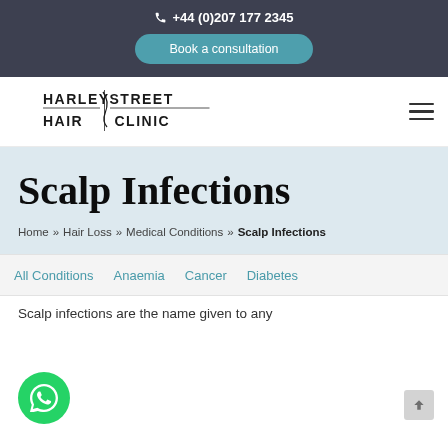+44 (0)207 177 2345
Book a consultation
[Figure (logo): Harley Street Hair Clinic logo with stylized hair strand graphic]
Scalp Infections
Home » Hair Loss » Medical Conditions » Scalp Infections
All Conditions   Anaemia   Cancer   Diabetes
Scalp infections are the name given to any